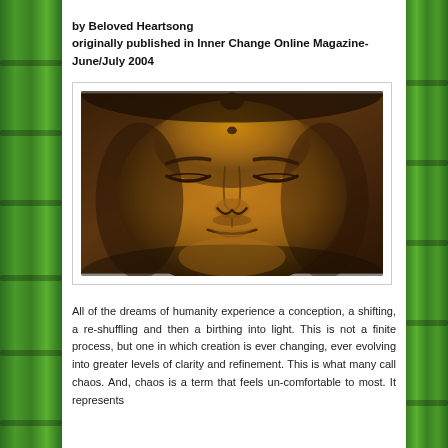by Beloved Heartsong
originally published in Inner Change Online Magazine- June/July 2004
[Figure (photo): Close-up painting of a golden Buddha face with closed eyes, rendered in warm amber and brown tones, depicting a serene meditative expression.]
All of the dreams of humanity experience a conception, a shifting, a re-shuffling and then a birthing into light. This is not a finite process, but one in which creation is ever changing, ever evolving into greater levels of clarity and refinement. This is what many call chaos. And, chaos is a term that feels un-comfortable to most. It represents